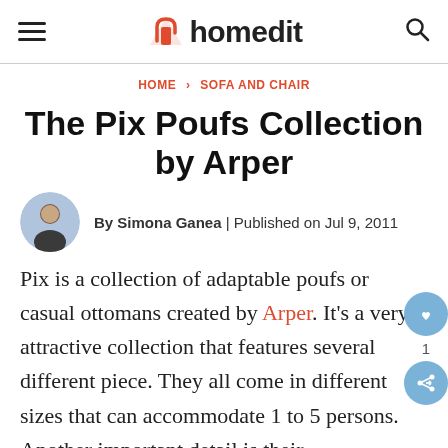homedit
HOME › SOFA AND CHAIR
The Pix Poufs Collection by Arper
By Simona Ganea | Published on Jul 9, 2011
Pix is a collection of adaptable poufs or casual ottomans created by Arper. It's a very attractive collection that features several different piece. They all come in different sizes that can accommodate 1 to 5 persons. Another important detail is their